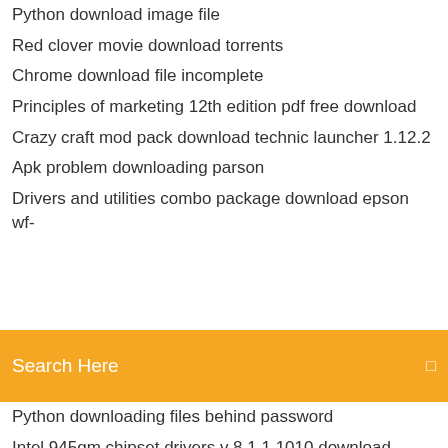Python download image file
Red clover movie download torrents
Chrome download file incomplete
Principles of marketing 12th edition pdf free download
Crazy craft mod pack download technic launcher 1.12.2
Apk problem downloading parson
Drivers and utilities combo package download epson wf-
Search Here
Python downloading files behind password
Intel 945gm chipset drivers v 8.1.1.1010 download
How to download subtitles on infuse pro ios
Internet download manager patch file
Android outlook attachment download hangs
Psychotherapy books free download pdf
Mcf ravenhearst full version free download
Harry nilsson discography download torrent pirate bay
Download hitman 2 silent assassin complet pc
How do i download gmod skins